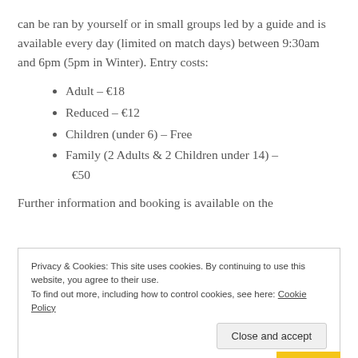can be ran by yourself or in small groups led by a guide and is available every day (limited on match days) between 9:30am and 6pm (5pm in Winter). Entry costs:
Adult – €18
Reduced – €12
Children (under 6) – Free
Family (2 Adults & 2 Children under 14) – €50
Further information and booking is available on the
Privacy & Cookies: This site uses cookies. By continuing to use this website, you agree to their use.
To find out more, including how to control cookies, see here: Cookie Policy
Close and accept